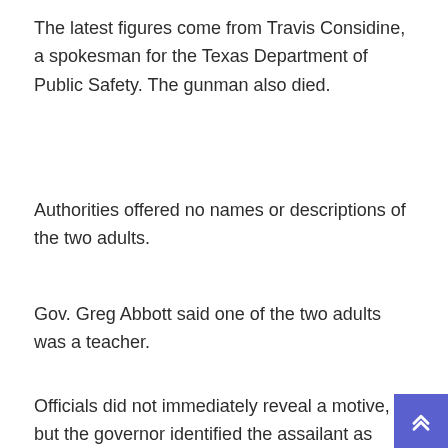The latest figures come from Travis Considine, a spokesman for the Texas Department of Public Safety. The gunman also died.
Authorities offered no names or descriptions of the two adults.
Gov. Greg Abbott said one of the two adults was a teacher.
Officials did not immediately reveal a motive, but the governor identified the assailant as Salvador Ramos and said he was a resident of the Unvalde, about 85 miles (135 kilometers) west of San Antonio.
The assault at Robb Elementary School in the heavily Latino town of Uvalde was the deadliest shooting at a